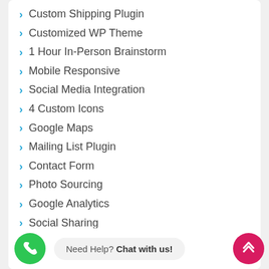Custom Shipping Plugin
Customized WP Theme
1 Hour In-Person Brainstorm
Mobile Responsive
Social Media Integration
4 Custom Icons
Google Maps
Mailing List Plugin
Contact Form
Photo Sourcing
Google Analytics
Social Sharing
404 Redirect
XML Sitemap
3 Rounds of Revisions
Need Help? Chat with us!